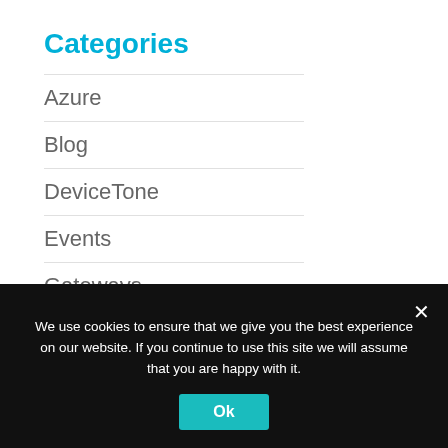Categories
Azure
Blog
DeviceTone
Events
Gateways
Genie
Partnerships
We use cookies to ensure that we give you the best experience on our website. If you continue to use this site we will assume that you are happy with it.
Ok